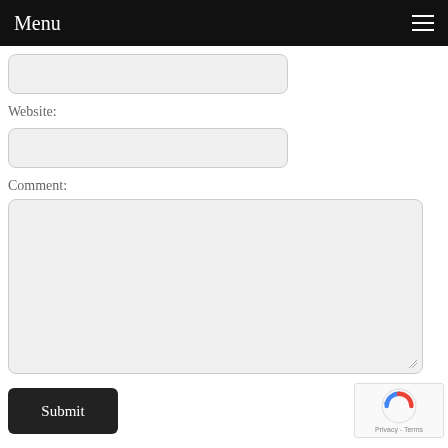Menu
Website:
Comment:
Submit
[Figure (other): reCAPTCHA widget with spinning arrow logo and Privacy - Terms text]